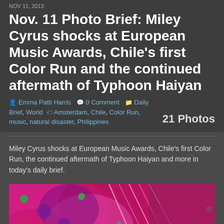NOV 11, 2013
Nov. 11 Photo Brief: Miley Cyrus shocks at European Music Awards, Chile's first Color Run and the continued aftermath of Typhoon Haiyan
Emma Patti Harris  0 Comment  Daily Brief, World  Amsterdam, Chile, Color Run, music, natural disaster, Philippines  21 Photos
Miley Cyrus shocks at European Music Awards, Chile's first Color Run, the continued aftermath of Typhoon Haiyan and more in today's daily brief.
[Figure (photo): Colorful powder-covered participants at Chile's first Color Run event, dominated by vivid pink/magenta powder with green spots and streaks of color.]